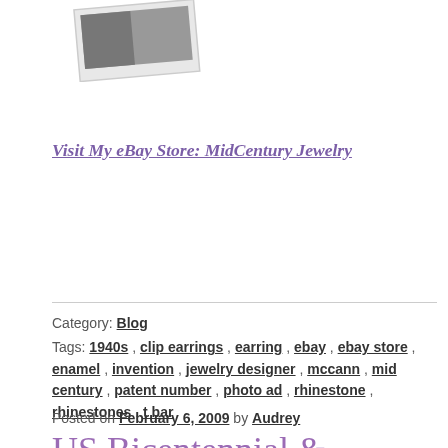[Figure (photo): Partial photo of a jewelry item, shown as a tilted polaroid-style photo]
Visit My eBay Store: MidCentury Jewelry
Category: Blog
Tags: 1940s, clip earrings, earring, ebay, ebay store, enamel, invention, jewelry designer, mccann, mid century, patent number, photo ad, rhinestone, rhinestones, t bar
Posted on February 6, 2009 by Audrey
US Bicentennial & Patriotic Jewelry